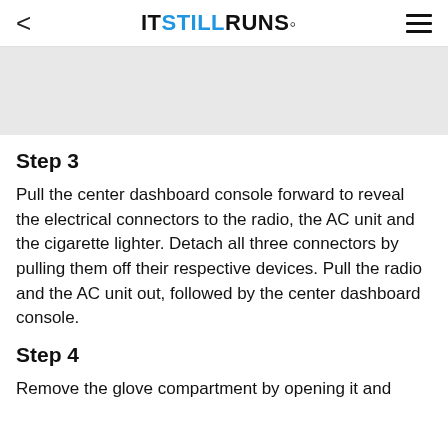< ITSTILLRUNS.
[Figure (photo): Light gray image placeholder area]
Step 3
Pull the center dashboard console forward to reveal the electrical connectors to the radio, the AC unit and the cigarette lighter. Detach all three connectors by pulling them off their respective devices. Pull the radio and the AC unit out, followed by the center dashboard console.
Step 4
Remove the glove compartment by opening it and